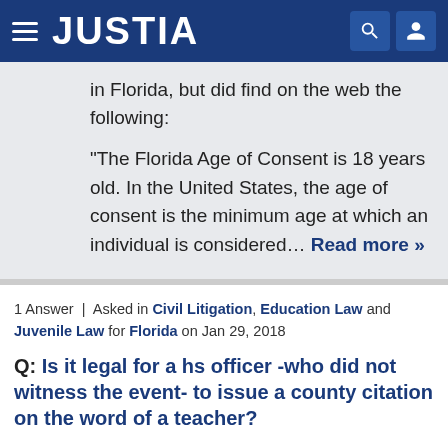JUSTIA
in Florida, but did find on the web the following:

"The Florida Age of Consent is 18 years old. In the United States, the age of consent is the minimum age at which an individual is considered... Read more »
1 Answer | Asked in Civil Litigation, Education Law and Juvenile Law for Florida on Jan 29, 2018
Q: Is it legal for a hs officer -who did not witness the event- to issue a county citation on the word of a teacher?
They attempted and succeeded in entrapment for this minor once in the administrations waiting room, they